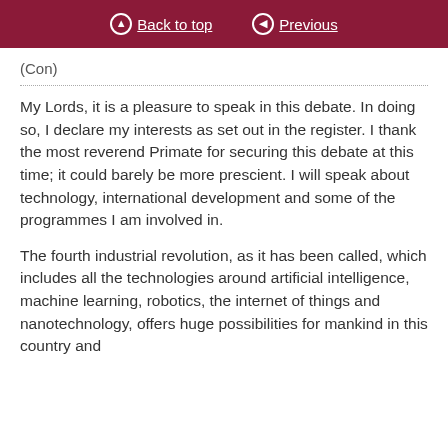Back to top   Previous
(Con)
My Lords, it is a pleasure to speak in this debate. In doing so, I declare my interests as set out in the register. I thank the most reverend Primate for securing this debate at this time; it could barely be more prescient. I will speak about technology, international development and some of the programmes I am involved in.
The fourth industrial revolution, as it has been called, which includes all the technologies around artificial intelligence, machine learning, robotics, the internet of things and nanotechnology, offers huge possibilities for mankind in this country and